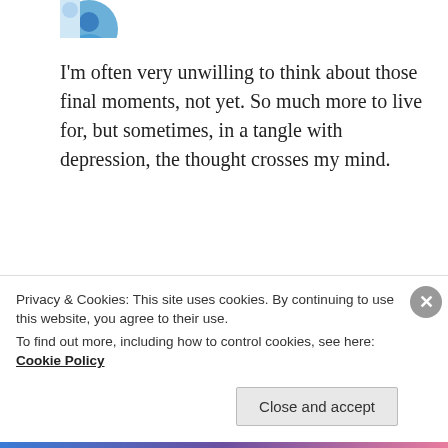[Figure (photo): Partial avatar image at top, cropped circle]
I'm often very unwilling to think about those final moments, not yet. So much more to live for, but sometimes, in a tangle with depression, the thought crosses my mind.
★ Liked by 1 person
REPLY
[Figure (photo): Avatar circle for Hemalatha Ramesh]
HEMALATHA RAMESH
Privacy & Cookies: This site uses cookies. By continuing to use this website, you agree to their use.
To find out more, including how to control cookies, see here: Cookie Policy
Close and accept